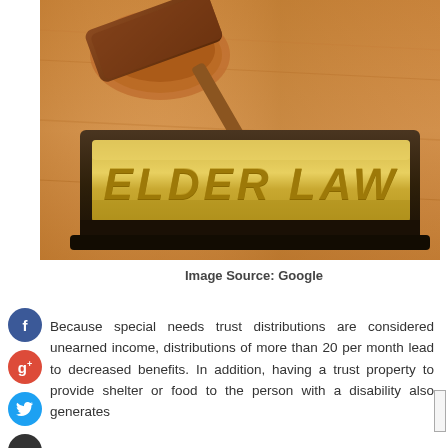[Figure (photo): A desk nameplate reading 'ELDER LAW' in gold letters on a dark wood base, with a judge's gavel in the background on a wooden surface.]
Image Source: Google
Because special needs trust distributions are considered unearned income, distributions of more than 20 per month lead to decreased benefits. In addition, having a trust property to provide shelter or food to the person with a disability also generates